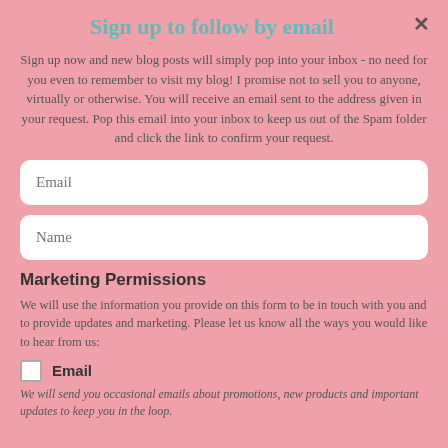Sign up to follow by email
Sign up now and new blog posts will simply pop into your inbox - no need for you even to remember to visit my blog! I promise not to sell you to anyone, virtually or otherwise. You will receive an email sent to the address given in your request. Pop this email into your inbox to keep us out of the Spam folder and click the link to confirm your request.
Marketing Permissions
We will use the information you provide on this form to be in touch with you and to provide updates and marketing. Please let us know all the ways you would like to hear from us:
Email
We will send you occasional emails about promotions, new products and important updates to keep you in the loop.